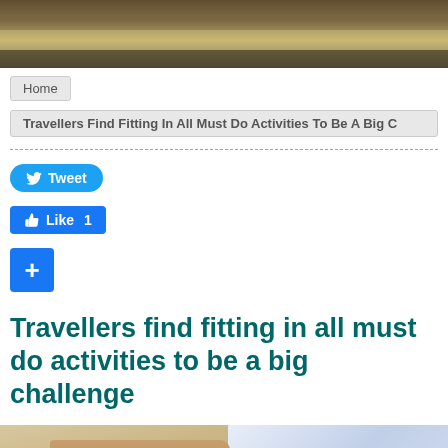[Figure (photo): Top portion of a travel photo, cropped at top of page]
Home
Travellers Find Fitting In All Must Do Activities To Be A Big C
Tweet
Like 1
+
Travellers find fitting in all must do activities to be a big challenge
[Figure (photo): Photo of an ancient building (possibly Colosseum) against a cloudy sky, with a teal chat icon overlay in the bottom left]